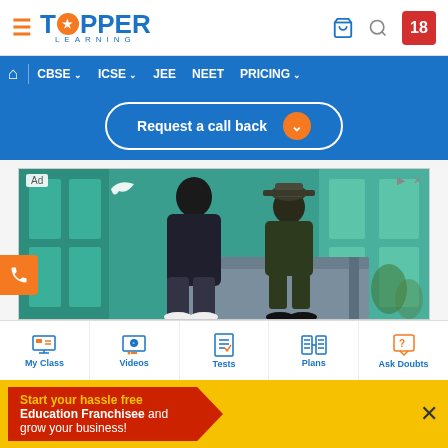[Figure (screenshot): TopperLearning website header with logo, hamburger menu, cart, search, and 18+ badge]
[Figure (screenshot): Navigation bar with CBSE, ICSE, JEE, NEET, PRICING links on blue background]
[Figure (screenshot): Request a call back blue button with orange chevron]
[Figure (photo): PUMA advertisement showing two people sitting on a bench in front of teal panels]
Treat yourself with brand new gear from PUMA.
[Figure (screenshot): Bottom navigation bar with My Class, Videos, Tests, Plans, Ask Doubts icons]
Start your hassle free
Education Franchisee and grow your business!